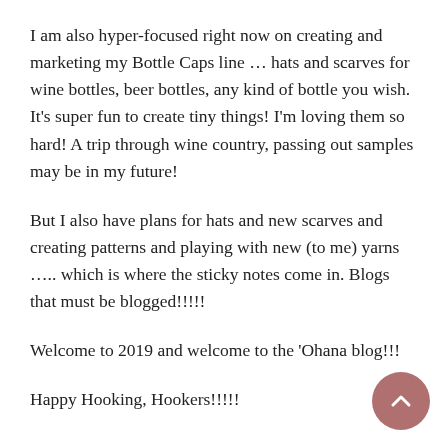I am also hyper-focused right now on creating and marketing my Bottle Caps line … hats and scarves for wine bottles, beer bottles, any kind of bottle you wish. It's super fun to create tiny things! I'm loving them so hard! A trip through wine country, passing out samples may be in my future!
But I also have plans for hats and new scarves and creating patterns and playing with new (to me) yarns ….. which is where the sticky notes come in. Blogs that must be blogged!!!!!
Welcome to 2019 and welcome to the 'Ohana blog!!!
Happy Hooking, Hookers!!!!!